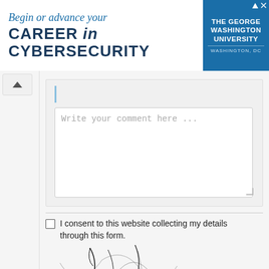[Figure (other): Advertisement banner for The George Washington University: 'Begin or advance your CAREER in CYBERSECURITY', WASHINGTON, DC]
[Figure (other): Text input cursor indicator (blue vertical bar)]
Write your comment here ...
I consent to this website collecting my details through this form.
[Figure (other): CAPTCHA image showing distorted text: Da4mC]
[Figure (other): CAPTCHA text entry input box (empty)]